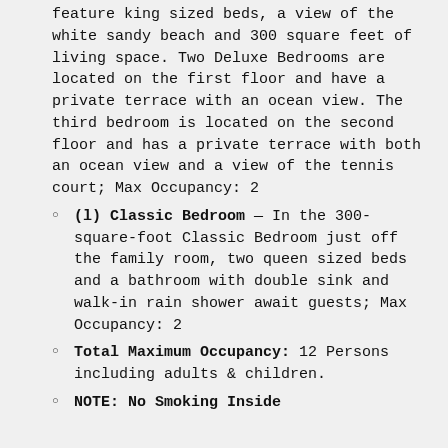feature king sized beds, a view of the white sandy beach and 300 square feet of living space. Two Deluxe Bedrooms are located on the first floor and have a private terrace with an ocean view. The third bedroom is located on the second floor and has a private terrace with both an ocean view and a view of the tennis court; Max Occupancy: 2
(l) Classic Bedroom — In the 300-square-foot Classic Bedroom just off the family room, two queen sized beds and a bathroom with double sink and walk-in rain shower await guests; Max Occupancy: 2
Total Maximum Occupancy: 12 Persons including adults & children.
NOTE: No Smoking Inside